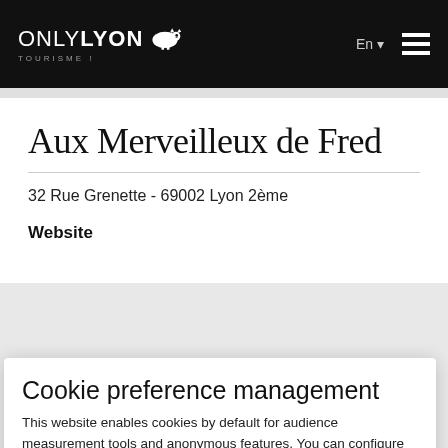ONLYLYON TOURISME! En ☰
Aux Merveilleux de Fred
32 Rue Grenette - 69002 Lyon 2ème
Website
Cookie preference management
This website enables cookies by default for audience measurement tools and anonymous features. You can configure your browser to block or be informed of the existence of these cookies. These cookies do not store any personally identifying information.
Read more
No thanks | I want to choose | OK!